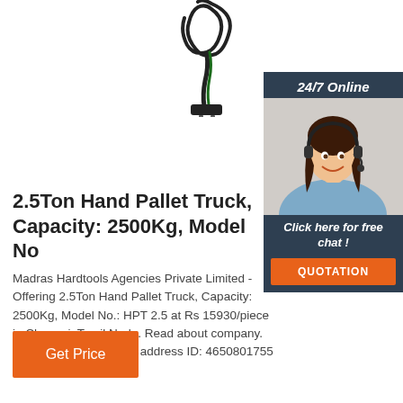[Figure (photo): Product photo of a black power cord/plug (electrical cable with plug head) shown against white background]
[Figure (photo): 24/7 Online chat widget with photo of smiling woman wearing headset, dark navy background, with 'Click here for free chat!' text and orange QUOTATION button]
2.5Ton Hand Pallet Truck, Capacity: 2500Kg, Model No
Madras Hardtools Agencies Private Limited - Offering 2.5Ton Hand Pallet Truck, Capacity: 2500Kg, Model No.: HPT 2.5 at Rs 15930/piece in Chennai, Tamil Nadu. Read about company. Get contact details and address ID: 4650801755
Get Price